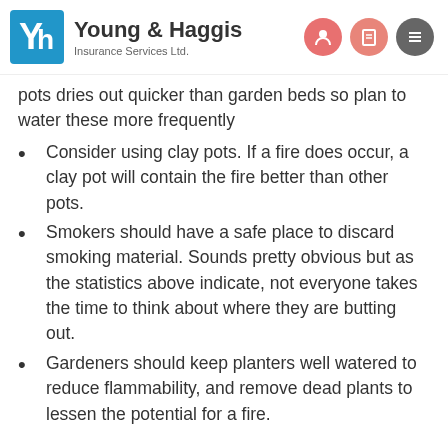Young & Haggis Insurance Services Ltd.
pots dries out quicker than garden beds so plan to water these more frequently
Consider using clay pots. If a fire does occur, a clay pot will contain the fire better than other pots.
Smokers should have a safe place to discard smoking material. Sounds pretty obvious but as the statistics above indicate, not everyone takes the time to think about where they are butting out.
Gardeners should keep planters well watered to reduce flammability, and remove dead plants to lessen the potential for a fire.